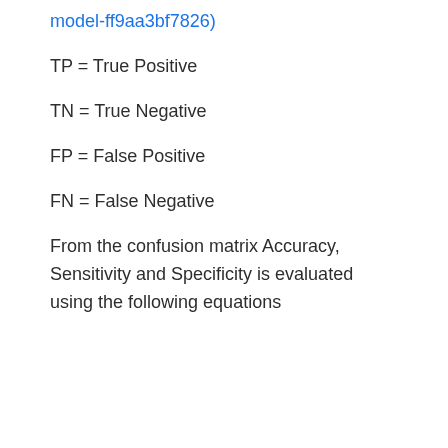model-ff9aa3bf7826)
TP = True Positive
TN = True Negative
FP = False Positive
FN = False Negative
From the confusion matrix Accuracy, Sensitivity and Specificity is evaluated using the following equations